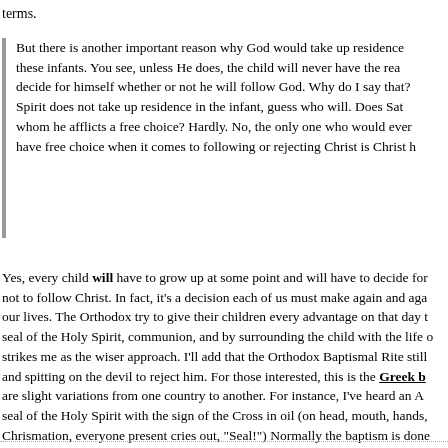terms.
But there is another important reason why God would take up residence in these infants. You see, unless He does, the child will never have the rea... decide for himself whether or not he will follow God. Why do I say that? ... Spirit does not take up residence in the infant, guess who will. Does Sat... whom he afflicts a free choice? Hardly. No, the only one who would ever... have free choice when it comes to following or rejecting Christ is Christ h...
Yes, every child will have to grow up at some point and will have to decide for... not to follow Christ. In fact, it's a decision each of us must make again and aga... our lives. The Orthodox try to give their children every advantage on that day t... seal of the Holy Spirit, communion, and by surrounding the child with the life o... strikes me as the wiser approach. I'll add that the Orthodox Baptismal Rite still... and spitting on the devil to reject him. For those interested, this is the Greek b... are slight variations from one country to another. For instance, I've heard an A... seal of the Holy Spirit with the sign of the Cross in oil (on head, mouth, hands,... Chrismation, everyone present cries out, "Seal!") Normally the baptism is done... Divine Liturgy, from what I understand, and the one baptized is then also comm...